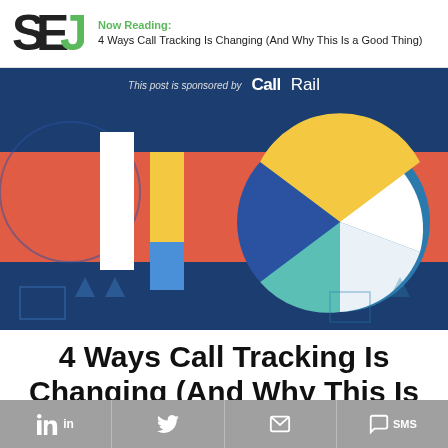Now Reading: 4 Ways Call Tracking Is Changing (And Why This Is a Good Thing)
[Figure (illustration): Sponsored banner: 'This post is sponsored by CallRail' on dark blue background, followed by a hero graphic on dark blue background featuring geometric shapes: bars and pie/donut chart segments in coral/red, gold/yellow, teal, and white colors, styled as abstract data visualization icons resembling the number '10'.]
4 Ways Call Tracking Is Changing (And Why This Is
in  Twitter  Email  SMS